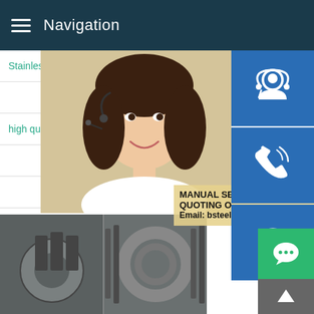Navigation
Stainless Steel Plate 201 Sheet Whole
s45c specification
high quality carbon steel plate she
en 10025 s235jr equivalent in
P23 P24 Steel
[Figure (photo): Woman with headset (customer service representative) with contact support icons on the right]
MANUAL SE
QUOTING O
Email: bsteel1@163.com
[Figure (photo): Industrial steel parts and rings, two side-by-side photos at the bottom of the page]